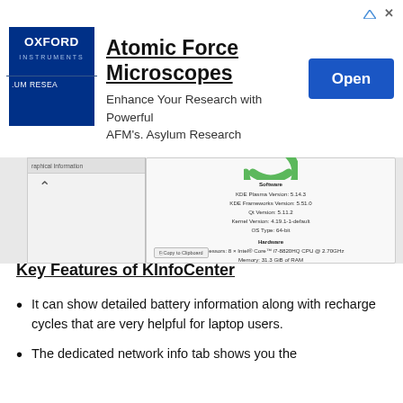[Figure (screenshot): Advertisement banner for Oxford Instruments Atomic Force Microscopes with Open button]
[Figure (screenshot): KDE KInfoCenter system information panel showing Software (KDE Plasma Version: 5.14.3, KDE Frameworks Version: 5.51.0, Qt Version: 5.11.2, Kernel Version: 4.19.1-1-default, OS Type: 64-bit) and Hardware (Processors: 8 x Intel® Core™ i7-8820HQ CPU @ 2.70GHz, Memory: 31.3 GiB of RAM)]
Key Features of KInfoCenter
It can show detailed battery information along with recharge cycles that are very helpful for laptop users.
The dedicated network info tab shows you the